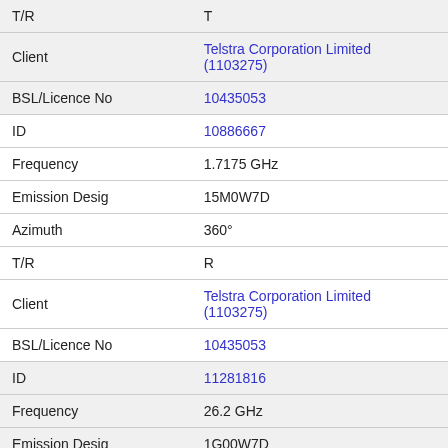| Field | Value |
| --- | --- |
| T/R | T |
| Client | Telstra Corporation Limited (1103275) |
| BSL/Licence No | 10435053 |
| ID | 10886667 |
| Frequency | 1.7175 GHz |
| Emission Desig | 15M0W7D |
| Azimuth | 360° |
| T/R | R |
| Client | Telstra Corporation Limited (1103275) |
| BSL/Licence No | 10435053 |
| ID | 11281816 |
| Frequency | 26.2 GHz |
| Emission Desig | 1G00W7D |
| Azimuth | 0° |
| T/R | R |
| Client | Telstra Corporation Limited (1103275) |